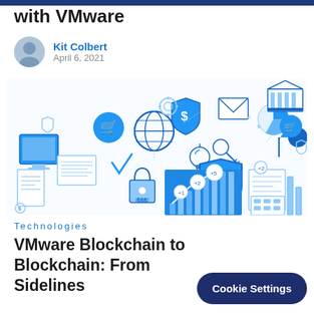with VMware
Kit Colbert
April 6, 2021
[Figure (illustration): Colorful flat-style fintech/blockchain illustration showing icons for shopping cart, globe, dollar shield, key, lightbulb, pie chart, bank building, padlock, bar chart with growth arrow, documents, and umbrella — in blue and white tones.]
Technologies
VMware Blockchain to
Blockchain: From Sidelines [CCTI]